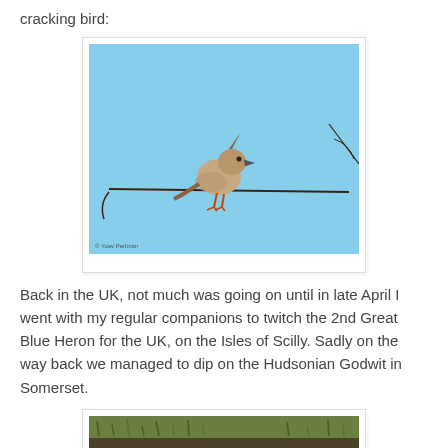cracking bird:
[Figure (photo): A small bird with a crest perched on a thin bare branch against a clear blue sky background. A small photo credit is visible in the bottom left corner.]
Back in the UK, not much was going on until in late April I went with my regular companions to twitch the 2nd Great Blue Heron for the UK, on the Isles of Scilly. Sadly on the way back we managed to dip on the Hudsonian Godwit in Somerset.
[Figure (photo): A partially visible photo showing a bird in green and brown grassland/muddy habitat. The image is cut off at the bottom of the page.]